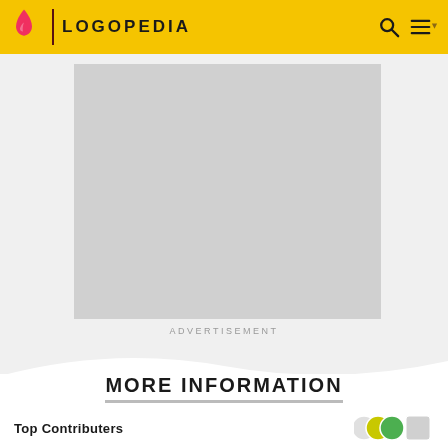LOGOPEDIA
[Figure (other): Advertisement placeholder — large grey rectangle]
ADVERTISEMENT
MORE INFORMATION
Top Contributers